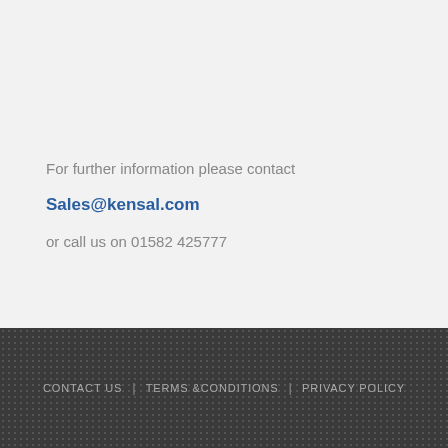For further information please contact
Sales@kensal.com
or call us on 01582 425777
CONTACT US | TERMS & CONDITIONS | PRIVACY POLICY